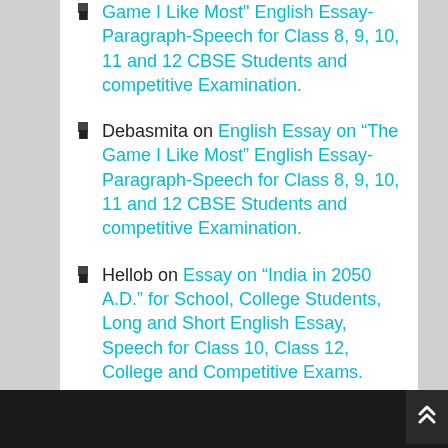[partial: link] Game I Like Most" English Essay-Paragraph-Speech for Class 8, 9, 10, 11 and 12 CBSE Students and competitive Examination.
Debasmita on English Essay on “The Game I Like Most" English Essay-Paragraph-Speech for Class 8, 9, 10, 11 and 12 CBSE Students and competitive Examination.
Hellob on Essay on “India in 2050 A.D.” for School, College Students, Long and Short English Essay, Speech for Class 10, Class 12, College and Competitive Exams.